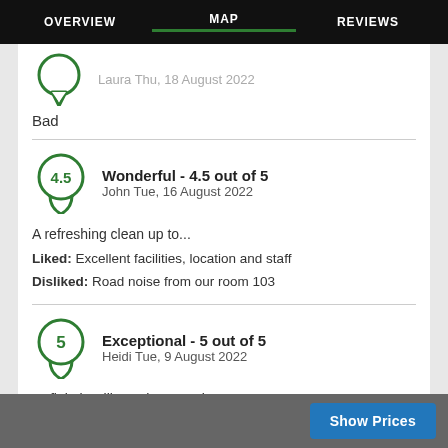OVERVIEW   MAP   REVIEWS
Laura Thu, 18 August 2022
Bad
Wonderful - 4.5 out of 5
John Tue, 16 August 2022
A refreshing clean up to...
Liked: Excellent facilities, location and staff
Disliked: Road noise from our room 103
Exceptional - 5 out of 5
Heidi Tue, 9 August 2022
Definitely will stay here again...
Liked: Clean room/bathroom, comfortable bed